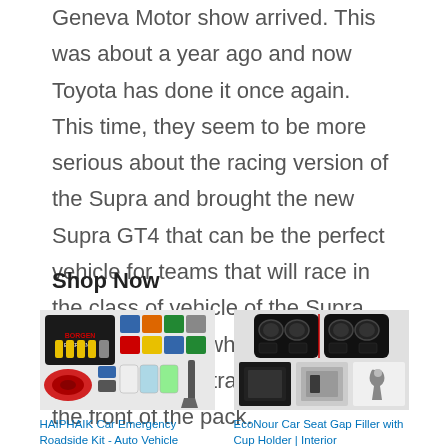Geneva Motor show arrived. This was about a year ago and now Toyota has done it once again. This time, they seem to be more serious about the racing version of the Supra and brought the new Supra GT4 that can be the perfect vehicle for teams that will race in the class of vehicle of the Supra can experience when it's time to head out on the track and head to the front of the pack.
Shop Now
[Figure (photo): HAIPHAIK Car Emergency Roadside Kit product image showing jumper cables, tools, shovel, gloves and accessories]
HAIPHAIK Car Emergency Roadside Kit - Auto Vehicle
[Figure (photo): EcoNour Car Seat Gap Filler with Cup Holder product image showing black seat gap organizer]
EcoNour Car Seat Gap Filler with Cup Holder | Interior